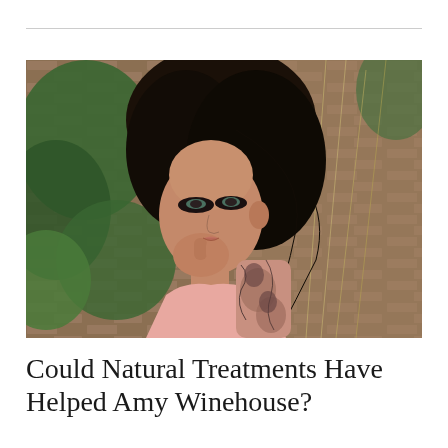[Figure (photo): Portrait photo of Amy Winehouse with dark hair, resting her chin on her hand, wearing a pink outfit with tattoos on her arm, posed against a brick wall with green ivy.]
Could Natural Treatments Have Helped Amy Winehouse?